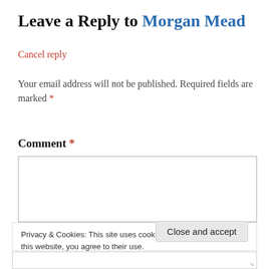Leave a Reply to Morgan Mead
Cancel reply
Your email address will not be published. Required fields are marked *
Comment *
Privacy & Cookies: This site uses cookies. By continuing to use this website, you agree to their use.
To find out more, including how to control cookies, see here: Cookie Policy
Close and accept